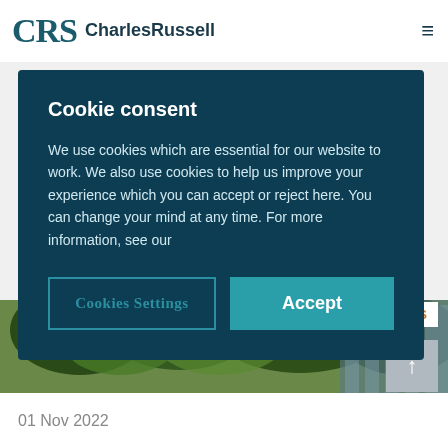CRS | CharlesRussell
Cookie consent
We use cookies which are essential for our website to work. We also use cookies to help us improve your experience which you can accept or reject here. You can change your mind at any time. For more information, see our
Cookies Settings
Accept
[Figure (photo): Outdoor scene with trees and a crowd of people walking in a city setting near a glass building]
EVENTS
01 Nov 2022